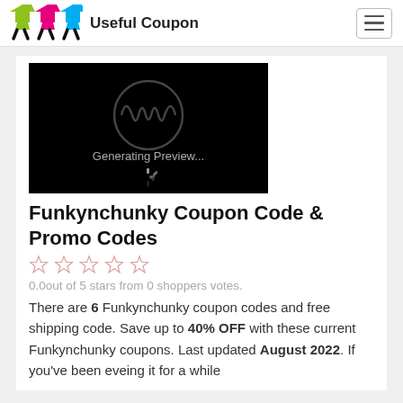Useful Coupon
[Figure (screenshot): WordPress 'Generating Preview...' loading screen on black background with WordPress logo and spinner]
Funkynchunky Coupon Code & Promo Codes
0.0out of 5 stars from 0 shoppers votes.
There are 6 Funkynchunky coupon codes and free shipping code. Save up to 40% OFF with these current Funkynchunky coupons. Last updated August 2022. If you've been eveing it for a while